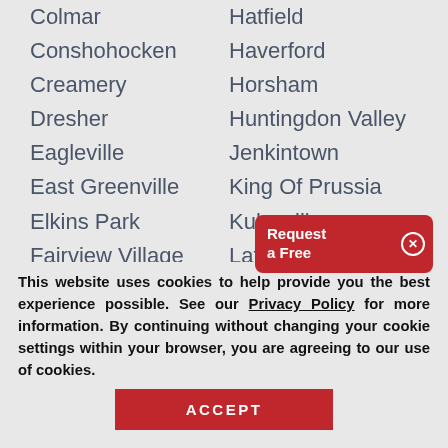Colmar | Hatfield
Conshohocken | Haverford
Creamery | Horsham
Dresher | Huntingdon Valley
Eagleville | Jenkintown
East Greenville | King Of Prussia
Elkins Park | Kulpsville
Fairview Village | Lafayette Hill
Lansdale | Sassamansville
Lederach | Schwenksville
Mainland | Skippack
[Figure (screenshot): Red popup button reading 'Request a Free' with an X close button]
This website uses cookies to help provide you the best experience possible. See our Privacy Policy for more information. By continuing without changing your cookie settings within your browser, you are agreeing to our use of cookies.
ACCEPT